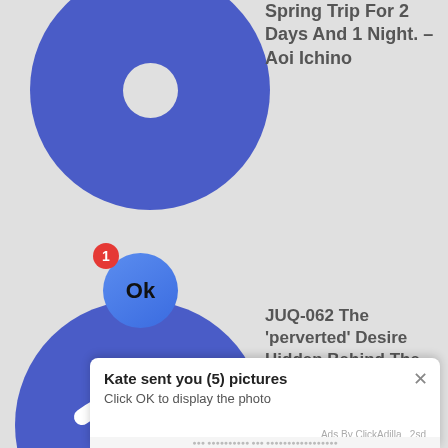[Figure (illustration): Partial blue circle with white inner circle, cropped at top-left]
Spring Trip For 2 Days And 1 Night. – Aoi Ichino
[Figure (illustration): Blue circle with white wifi signal icon]
JUQ-062 The 'perverted' Desire Hidden Behind The 'angel'-like Smile. Rookie Haruka Rukawa 30 Years Old AV DEBUT
[Figure (screenshot): Notification popup: Kate sent you (5) pictures. Click OK to display the photo. Ads By ClickAdilla 2sd]